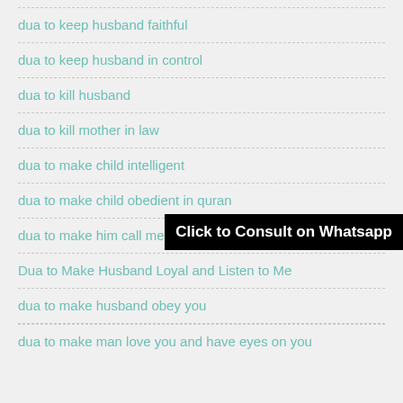dua to keep husband faithful
dua to keep husband in control
dua to kill husband
dua to kill mother in law
dua to make child intelligent
dua to make child obedient in quran
dua to make him call me now
Dua to Make Husband Loyal and Listen to Me
dua to make husband obey you
dua to make man love you and have eyes on you
Click to Consult on Whatsapp